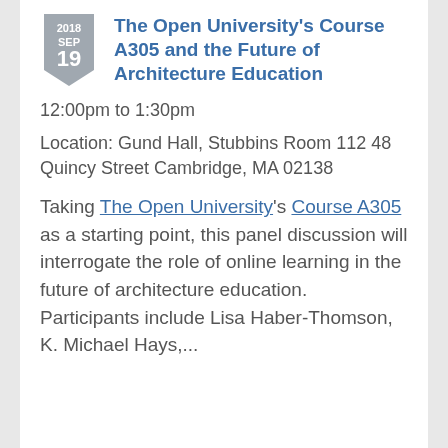The Open University's Course A305 and the Future of Architecture Education
12:00pm to 1:30pm
Location: Gund Hall, Stubbins Room 112 48 Quincy Street Cambridge, MA 02138
Taking The Open University's Course A305 as a starting point, this panel discussion will interrogate the role of online learning in the future of architecture education. Participants include Lisa Haber-Thomson, K. Michael Hays,...